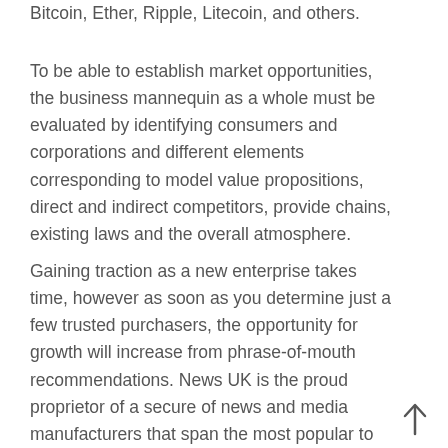Bitcoin, Ether, Ripple, Litecoin, and others.
To be able to establish market opportunities, the business mannequin as a whole must be evaluated by identifying consumers and corporations and different elements corresponding to model value propositions, direct and indirect competitors, provide chains, existing laws and the overall atmosphere.
Gaining traction as a new enterprise takes time, however as soon as you determine just a few trusted purchasers, the opportunity for growth will increase from phrase-of-mouth recommendations. News UK is the proud proprietor of a secure of news and media manufacturers that span the most popular to probably the most revered, cover the intellectual to the lowdown, provide the primary flash and the last phrase.